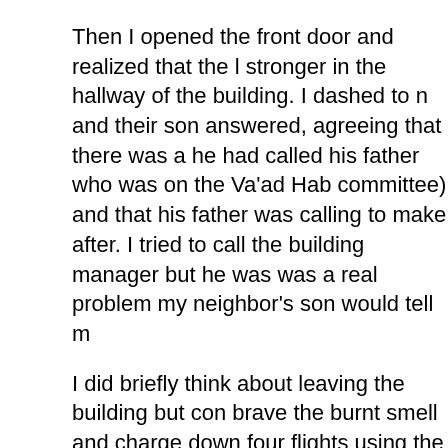Then I opened the front door and realized that the l stronger in the hallway of the building. I dashed to n and their son answered, agreeing that there was a he had called his father who was on the Va'ad Hab committee) and that his father was calling to make after. I tried to call the building manager but he was was a real problem my neighbor's son would tell m
I did briefly think about leaving the building but con brave the burnt smell and charge down four flights using the elevator, wondering if it was possibly the thinking maybe there had been some sort of electri
I dashed back to my apartment and swung the doo wouldn't creep in, any more than it  had already. Th minutes I was on line emailing Web Wizards back a week's edition of this publication went out. I was so doing that I more or less forgot about the smell unti noise from out on the street.